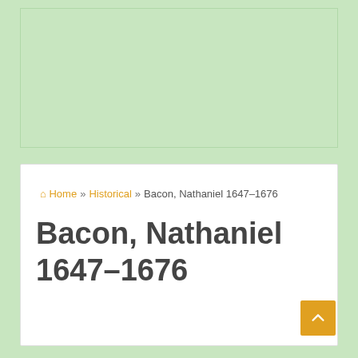Home » Historical » Bacon, Nathaniel 1647–1676
Bacon, Nathaniel 1647–1676